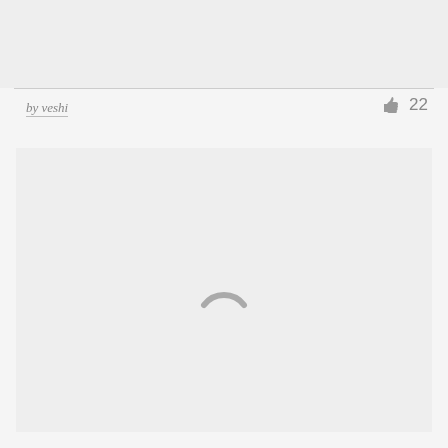[Figure (other): Gray placeholder image area at top of page]
by veshi
22
[Figure (other): Loading spinner (partial circle arc) centered in a light gray content area]